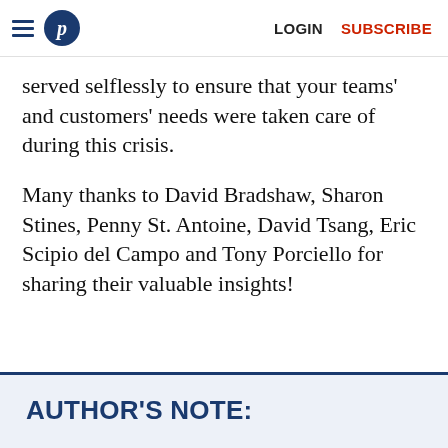LOGIN  SUBSCRIBE
served selflessly to ensure that your teams' and customers' needs were taken care of during this crisis.
Many thanks to David Bradshaw, Sharon Stines, Penny St. Antoine, David Tsang, Eric Scipio del Campo and Tony Porciello for sharing their valuable insights!
AUTHOR'S NOTE: